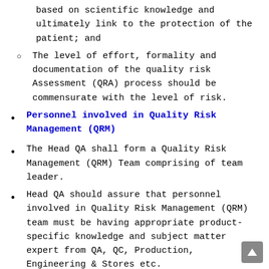based on scientific knowledge and ultimately link to the protection of the patient; and
The level of effort, formality and documentation of the quality risk Assessment (QRA) process should be commensurate with the level of risk.
Personnel involved in Quality Risk Management (QRM)
The Head QA shall form a Quality Risk Management (QRM) Team comprising of team leader.
Head QA should assure that personnel involved in Quality Risk Management (QRM) team must be having appropriate product-specific knowledge and subject matter expert from QA, QC, Production, Engineering & Stores etc.